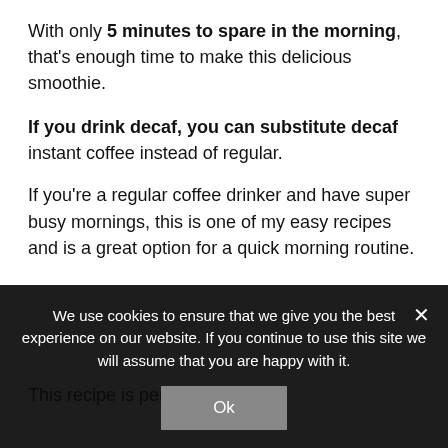With only 5 minutes to spare in the morning, that's enough time to make this delicious smoothie.
If you drink decaf, you can substitute decaf instant coffee instead of regular.
If you're a regular coffee drinker and have super busy mornings, this is one of my easy recipes and is a great option for a quick morning routine.
This recipe is perfect for...
We use cookies to ensure that we give you the best experience on our website. If you continue to use this site we will assume that you are happy with it.
Ok